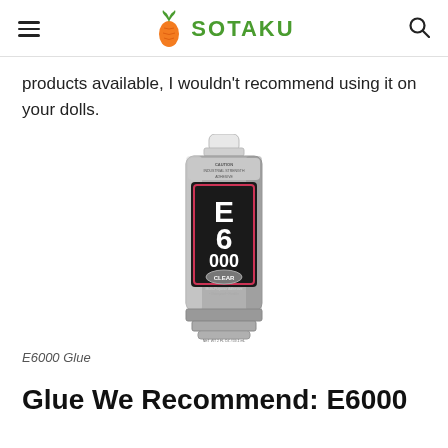SOTAKU
products available, I wouldn't recommend using it on your dolls.
[Figure (photo): A tube of E6000 glue, a silver tube with black and red label showing 'E6000' in large letters, with 'CLEAR' label visible]
E6000 Glue
Glue We Recommend: E6000